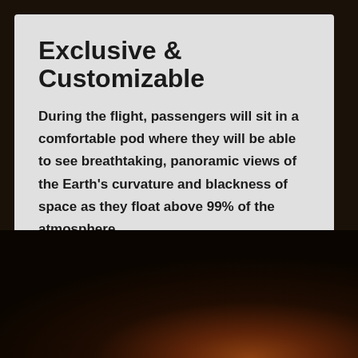Exclusive & Customizable
During the flight, passengers will sit in a comfortable pod where they will be able to see breathtaking, panoramic views of the Earth's curvature and blackness of space as they float above 99% of the atmosphere.
[Figure (photo): Dark background with warm orange-brown glow in lower right, suggesting a view of Earth or space from altitude]